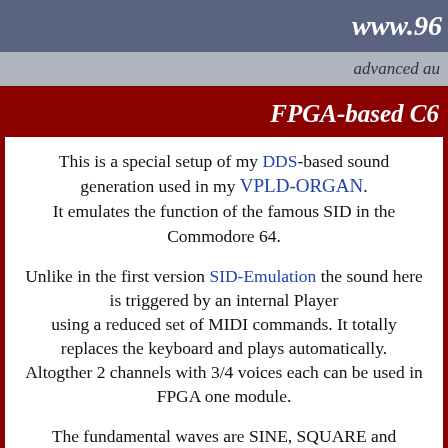www.96...
advanced au...
FPGA-based C6...
This is a special setup of my DDS-based sound generation used in my VPLD-ORGAN. It emulates the function of the famous SID in the Commodore 64.
Unlike in the first version SID-Emulation the sound here is triggered by an internal Player using a reduced set of MIDI commands. It totally replaces the keyboard and plays automatically. Altogther 2 channels with 3/4 voices each can be used in FPGA one module.
The fundamental waves are SINE, SQUARE and TRIANGLE, SAWTOOTH and NOISE. Special Filtering for analog behaviour is included too to tweak the sound.
Also an enhanced version of the distortion module is integrated.